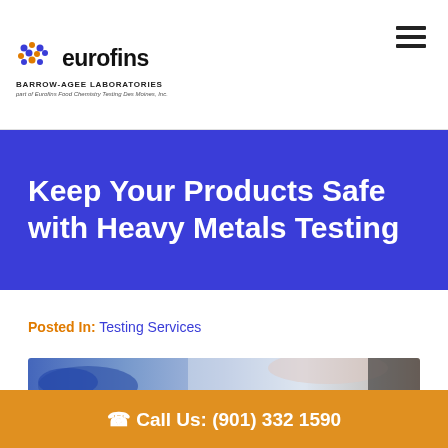eurofins BARROW-AGEE LABORATORIES part of Eurofins Food Chemistry Testing Des Moines, Inc.
Keep Your Products Safe with Heavy Metals Testing
Posted In: Testing Services
[Figure (photo): Close-up photo of a laboratory technician in blue gloves holding laboratory equipment]
Call Us: (901) 332 1590